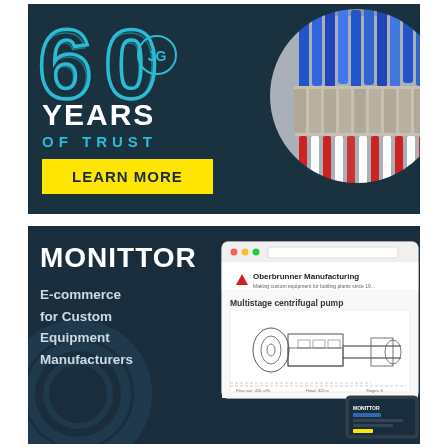[Figure (infographic): JG 60 Years of Trust advertisement banner with teal/cyan '60' numeral with circular logo, 'YEARS OF TRUST' text, a 'LEARN MORE' yellow button, and a circular photo of electrical connectors/wiring on a dark teal background.]
[Figure (infographic): Monittor advertisement banner showing 'MONITTOR' in large white bold text, subtitle 'E-commerce for Custom Equipment Manufacturers', and a screen mockup showing an Oberbrunner Manufacturing page with a multistage centrifugal pump engineering diagram, on a dark navy background.]